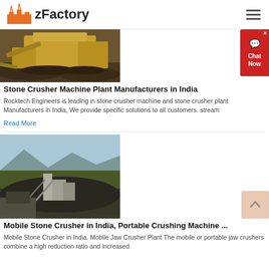zFactory
[Figure (photo): Heavy construction/mining machinery at a quarry site with large yellow equipment]
Stone Crusher Machine Plant Manufacturers in India
Rocktech Engineers is leading in stone crusher machine and stone crusher plant Manufacturers in India, We provide specific solutions to all customers. stream
Read More
[Figure (photo): Aerial view of a mobile stone crusher plant in India with industrial buildings and landscape]
Mobile Stone Crusher in India, Portable Crushing Machine ...
Mobile Stone Crusher in India. Mobile Jaw Crusher Plant The mobile or portable jaw crushers combine a high reduction ratio and increased